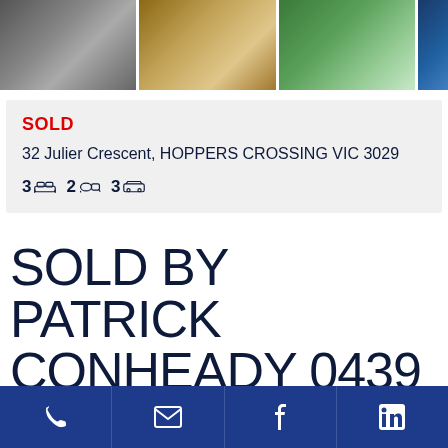[Figure (photo): Three property interior/exterior photos in a row at top of page]
SOLD
32 Julier Crescent, HOPPERS CROSSING VIC 3029
3 [bed] 2 [bath] 3 [car]
SOLD BY PATRICK CONHEADY 0439 045 005
[Figure (infographic): Footer bar with phone, email, Facebook, and LinkedIn icons on dark blue background]